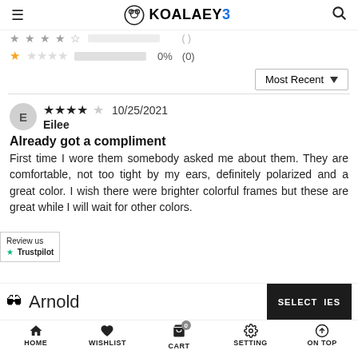KOALAEYE
1 star 0% (0)
Most Recent ▼
[Figure (screenshot): Review by Eilee, 10/25/2021, 4 stars out of 5]
Already got a compliment
First time I wore them somebody asked me about them. They are comfortable, not too tight by my ears, definitely polarized and a great color. I wish there were brighter colorful frames but these are great while I will wait for other colors.
Arnold
SELECT OPTIONS
HOME  WISHLIST  CART  SETTING  ON TOP